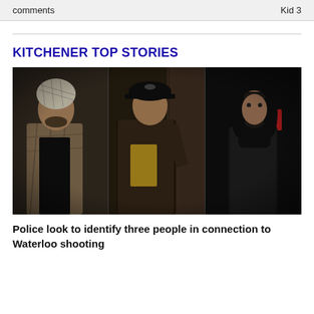comments   Kid 3
KITCHENER TOP STORIES
[Figure (photo): Surveillance camera still image showing three people side-by-side: left person wearing a patterned headscarf and plaid jacket; center person wearing a black baseball cap and yellow shirt under a dark jacket; right person wearing all dark clothing with long hair.]
Police look to identify three people in connection to Waterloo shooting